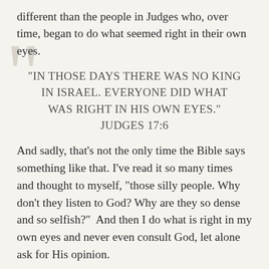different than the people in Judges who, over time, began to do what seemed right in their own eyes.
“IN THOSE DAYS THERE WAS NO KING IN ISRAEL. EVERYONE DID WHAT WAS RIGHT IN HIS OWN EYES.” JUDGES 17:6
And sadly, that’s not the only time the Bible says something like that. I’ve read it so many times and thought to myself, “those silly people. Why don’t they listen to God? Why are they so dense and so selfish?”  And then I do what is right in my own eyes and never even consult God, let alone ask for His opinion.